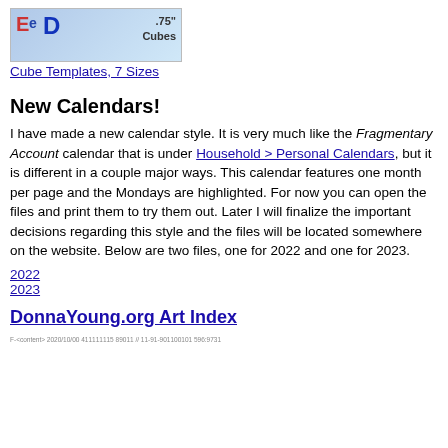[Figure (photo): Image of letter cubes spelling out letters with '.75" Cubes' text overlay]
Cube Templates, 7 Sizes
New Calendars!
I have made a new calendar style. It is very much like the Fragmentary Account calendar that is under Household > Personal Calendars, but it is different in a couple major ways. This calendar features one month per page and the Mondays are highlighted. For now you can open the files and print them to try them out. Later I will finalize the important decisions regarding this style and the files will be located somewhere on the website. Below are two files, one for 2022 and one for 2023.
2022
2023
DonnaYoung.org Art Index